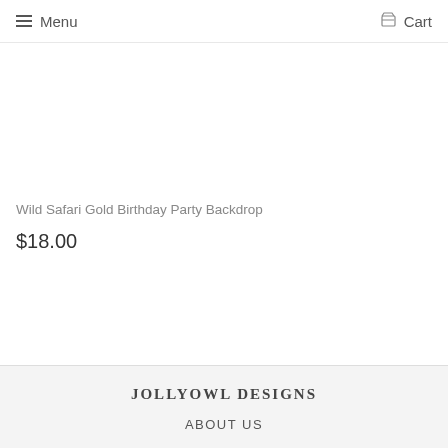Menu  Cart
Wild Safari Gold Birthday Party Backdrop
$18.00
JOLLYOWL DESIGNS  ABOUT US